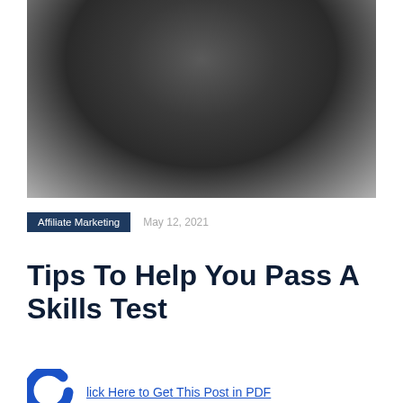[Figure (photo): Dark gradient hero image, dark gray elliptical radial gradient background suggesting a blurred photograph]
Affiliate Marketing   May 12, 2021
Tips To Help You Pass A Skills Test
lick Here to Get This Post in PDF